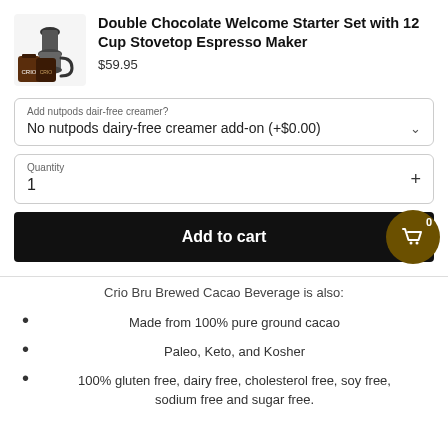Double Chocolate Welcome Starter Set with 12 Cup Stovetop Espresso Maker
$59.95
Add nutpods dair-free creamer?
No nutpods dairy-free creamer add-on (+$0.00)
Quantity
1
Add to cart
Crio Bru Brewed Cacao Beverage is also:
Made from 100% pure ground cacao
Paleo, Keto, and Kosher
100% gluten free, dairy free, cholesterol free, soy free, sodium free and sugar free.